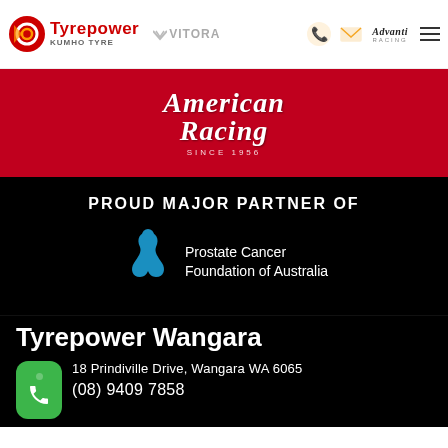[Figure (logo): Tyrepower Kumho Tyre logo with red circle graphic, VITORA logo, phone and email icons, Advanti Racing logo, and hamburger menu]
[Figure (logo): American Racing logo on red banner background, italic script with 'SINCE 1956' below]
PROUD MAJOR PARTNER OF
[Figure (logo): Prostate Cancer Foundation of Australia logo - blue ribbon/person figure with text]
Tyrepower Wangara
18 Prindiville Drive, Wangara WA 6065
(08) 9409 7858